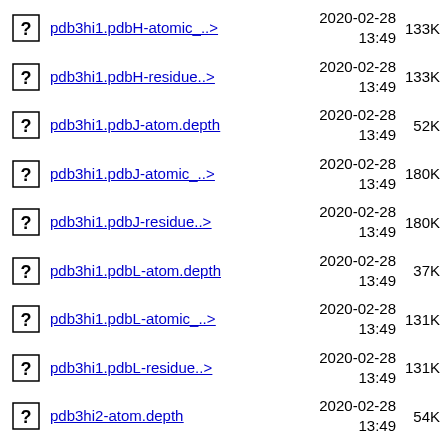pdb3hi1.pdbH-atomic_..> 2020-02-28 13:49 133K
pdb3hi1.pdbH-residue..> 2020-02-28 13:49 133K
pdb3hi1.pdbJ-atom.depth 2020-02-28 13:49 52K
pdb3hi1.pdbJ-atomic_..> 2020-02-28 13:49 180K
pdb3hi1.pdbJ-residue..> 2020-02-28 13:49 180K
pdb3hi1.pdbL-atom.depth 2020-02-28 13:49 37K
pdb3hi1.pdbL-atomic_..> 2020-02-28 13:49 131K
pdb3hi1.pdbL-residue..> 2020-02-28 13:49 131K
pdb3hi2-atom.depth 2020-02-28 13:49 54K
pdb3hi2-atomic_depth..> 2020-02-28 13:49 197K
pdb3hi2-residue.depth 2020-02-28 13:49 25K
pdb3hi2-... 2020-02-28